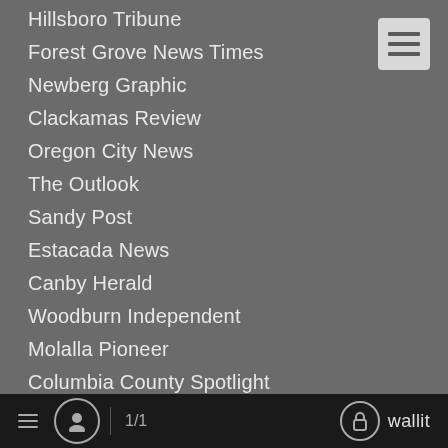Hillsboro Tribune
Forest Grove News Times
Newberg Graphic
Clackamas Review
Oregon City News
The Outlook
Sandy Post
Estacada News
Canby Herald
Woodburn Independent
Molalla Pioneer
Columbia County Spotlight
Regal Courier
Sherwood Gazette
The Bee
Southwest Community Connection
Central Oregon
Madras Pioneer
Central Oregonian
1/1  wallit